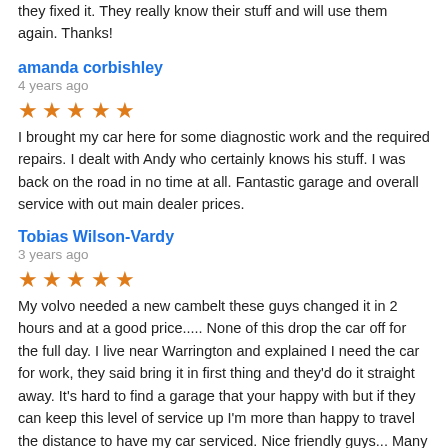they fixed it. They really know their stuff and will use them again. Thanks!
amanda corbishley
4 years ago
I brought my car here for some diagnostic work and the required repairs. I dealt with Andy who certainly knows his stuff. I was back on the road in no time at all. Fantastic garage and overall service with out main dealer prices.
Tobias Wilson-Vardy
3 years ago
My volvo needed a new cambelt these guys changed it in 2 hours and at a good price..... None of this drop the car off for the full day. I live near Warrington and explained I need the car for work, they said bring it in first thing and they'd do it straight away. It's hard to find a garage that your happy with but if they can keep this level of service up I'm more than happy to travel the distance to have my car serviced. Nice friendly guys... Many thanks.
R Co